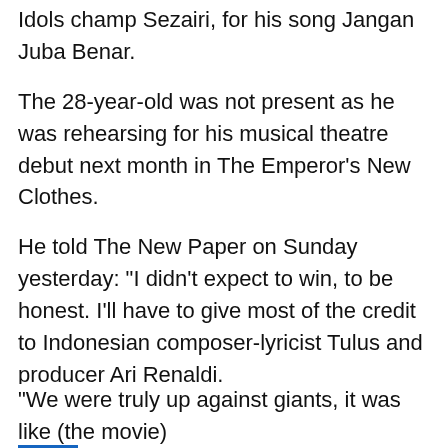Idols champ Sezairi, for his song Jangan Juba Benar.
The 28-year-old was not present as he was rehearsing for his musical theatre debut next month in The Emperor's New Clothes.
He told The New Paper on Sunday yesterday: "I didn't expect to win, to be honest. I'll have to give most of the credit to Indonesian composer-lyricist Tulus and producer Ari Renaldi.
"Now I have an excuse to fly to Bandung - to give Tulus his trophy."
Underdogs Iman's League were also taken aback by their double win in the Best Band and Best Song (Singapore) categories.
"We were truly up against giants, it was like (the movie)